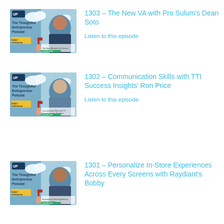[Figure (other): Thumbnail image for episode 1303 - The Thoughtful Entrepreneur Podcast with Dean Soto]
1303 – The New VA with Pro Sulum's Dean Soto
Listen to this episode
[Figure (other): Thumbnail image for episode 1302 - The Thoughtful Entrepreneur Podcast with Ron Price]
1302 – Communication Skills with TTI Success Insights' Ron Price
Listen to this episode
[Figure (other): Thumbnail image for episode 1301 - The Thoughtful Entrepreneur Podcast with Bobby]
1301 – Personalize In-Store Experiences Across Every Screens with Raydiant's Bobby